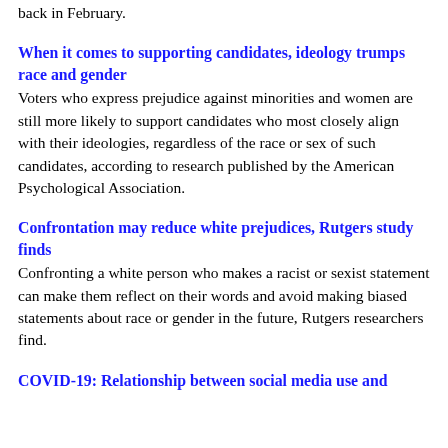back in February.
When it comes to supporting candidates, ideology trumps race and gender
Voters who express prejudice against minorities and women are still more likely to support candidates who most closely align with their ideologies, regardless of the race or sex of such candidates, according to research published by the American Psychological Association.
Confrontation may reduce white prejudices, Rutgers study finds
Confronting a white person who makes a racist or sexist statement can make them reflect on their words and avoid making biased statements about race or gender in the future, Rutgers researchers find.
COVID-19: Relationship between social media use and